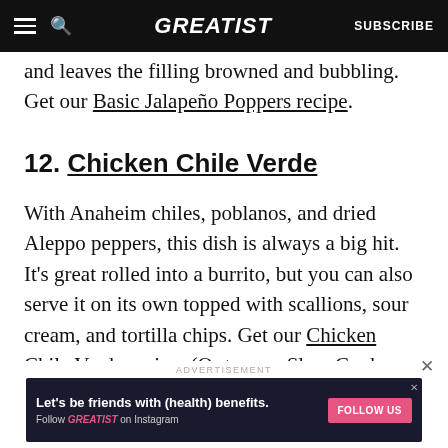GREATIST | SUBSCRIBE
and leaves the filling browned and bubbling. Get our Basic Jalapeño Poppers recipe.
12. Chicken Chile Verde
With Anaheim chiles, poblanos, and dried Aleppo peppers, this dish is always a big hit. It's great rolled into a burrito, but you can also serve it on its own topped with scallions, sour cream, and tortilla chips. Get our Chicken Chile Verde recipe. (Or try our Slow Cooker Chicken Chile Verde recipe.)
[Figure (other): Advertisement banner: Let's be friends with (health) benefits. Follow GREATIST on Instagram. Follow Us button.]